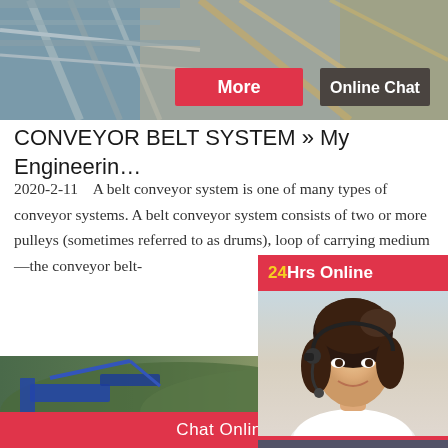[Figure (photo): Aerial/elevated view of industrial conveyor belt structure or construction site with scaffolding, with 'More' and 'Online Chat' buttons overlaid]
CONVEYOR BELT SYSTEM » My Engineerin…
2020-2-11    A belt conveyor system is one of many types of conveyor systems. A belt conveyor system consists of two or more pulleys (sometimes referred to as drums), loop of carrying medium—the conveyor belt-
[Figure (infographic): Side widget showing '24Hrs Online' header in red, photo of smiling female customer service agent with headset, dark background section with text 'Need questions & suggestion?' and a red 'Chat Now' button]
[Figure (photo): Photo of construction/mining site with blue heavy machinery/conveyor equipment in foreground and green hills in background]
Chat Online